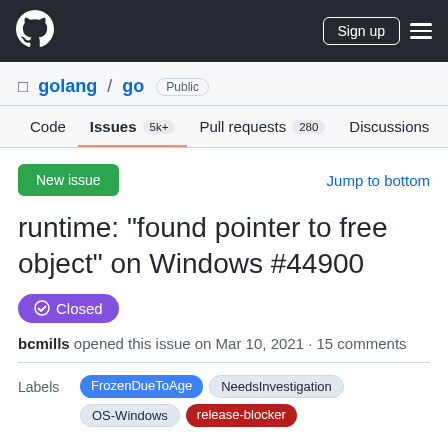GitHub — golang / go — Issues
runtime: "found pointer to free object" on Windows #44900
Closed
bcmills opened this issue on Mar 10, 2021 · 15 comments
Labels: FrozenDueToAge  NeedsInvestigation  OS-Windows  release-blocker